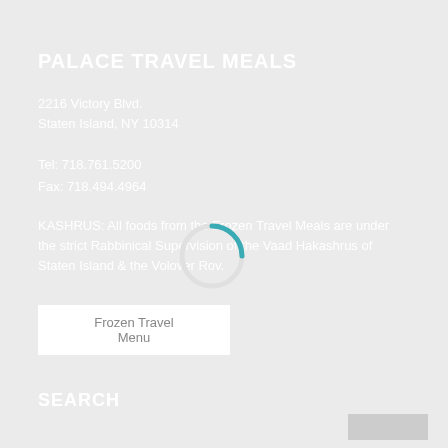PALACE TRAVEL MEALS
2216 Victory Blvd.
Staten Island, NY 10314
Tel: 718.761.5200
Fax: 718.494.4964
KASHRUS: All foods from the Frozen Travel Meals are under the strict Rabbinical Supervision of the Vaad Hakashrus of Staten Island & the Volover Rov.
Frozen Travel Menu
SEARCH